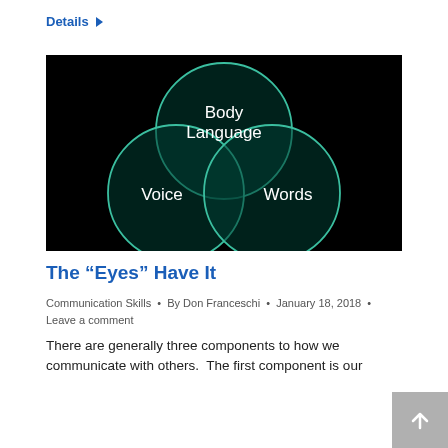Details ▶
[Figure (infographic): Venn diagram on black background showing three overlapping circles labeled 'Body Language' (top), 'Voice' (bottom left), and 'Words' (bottom right), all circles outlined in teal/green color with white text.]
The “Eyes” Have It
Communication Skills • By Don Franceschi • January 18, 2018 • Leave a comment
There are generally three components to how we communicate with others.  The first component is our